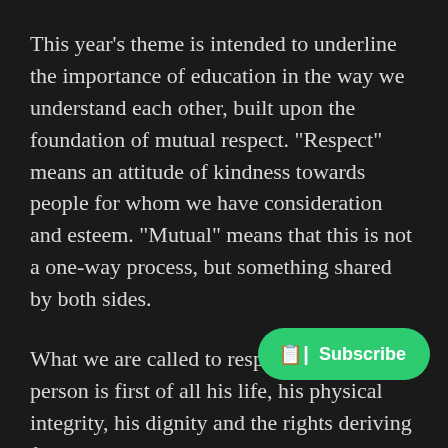This year’s theme is intended to underline the importance of education in the way we understand each other, built upon the foundation of mutual respect. “Respect” means an attitude of kindness towards people for whom we have consideration and esteem. “Mutual” means that this is not a one-way process, but something shared by both sides.
What we are called to respect in each person is first of all his life, his physical integrity, his dignity and the rights deriving from that dignity, his reputation, his property, his ethnic and cultural identity, his ideas and his political choices. We are therefore called to speak and write respectfully of the other, not only in his presence, but always and everywhere, avoiding unfair